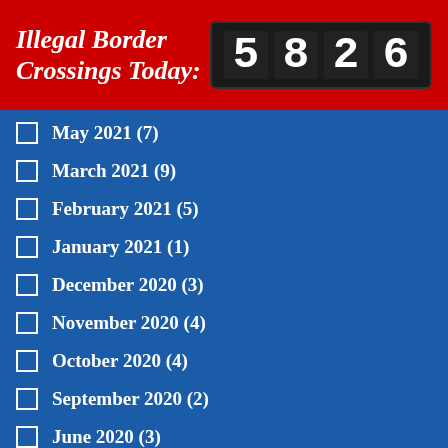Illegal Border Crossings Today: 5826
May 2021 (7)
March 2021 (9)
February 2021 (5)
January 2021 (1)
December 2020 (3)
November 2020 (4)
October 2020 (4)
September 2020 (2)
June 2020 (3)
March 2020 (2)
February 2020 (3)
January 2020 (4)
September 2021 (3) [checked]
April 2021 (3) [checked]